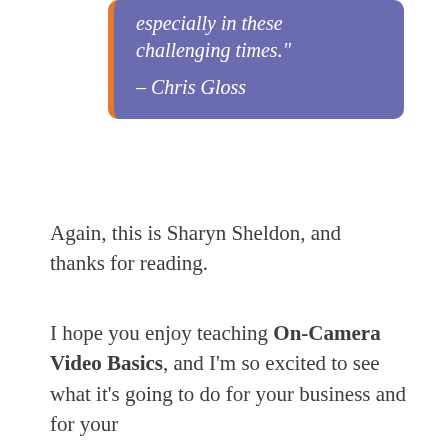especially in these challenging times." – Chris Gloss
Again, this is Sharyn Sheldon, and thanks for reading.
I hope you enjoy teaching On-Camera Video Basics, and I'm so excited to see what it's going to do for your business and for your